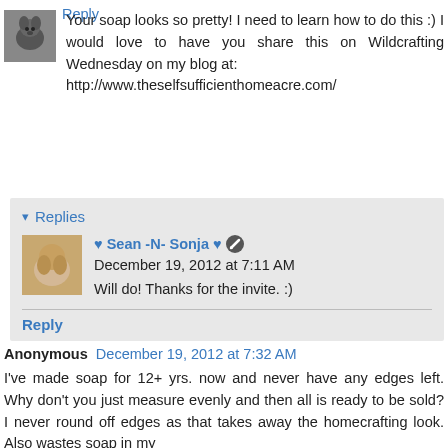Your soap looks so pretty! I need to learn how to do this :) I would love to have you share this on Wildcrafting Wednesday on my blog at: http://www.theselfsuffiicienthomeacre.com/
Reply
▾ Replies
♥ Sean -N- Sonja ♥  December 19, 2012 at 7:11 AM
Will do! Thanks for the invite. :)
Reply
Anonymous  December 19, 2012 at 7:32 AM
I've made soap for 12+ yrs. now and never have any edges left. Why don't you just measure evenly and then all is ready to be sold? I never round off edges as that takes away the homecrafting look. Also wastes soap in my